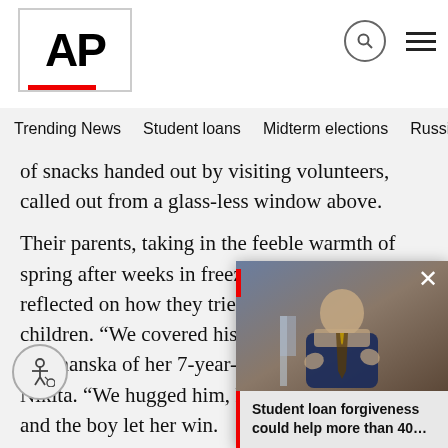[Figure (logo): AP (Associated Press) logo in black bold text with red underbar, inside a white box]
Trending News   Student loans   Midterm elections   Russia-Ukr
of snacks handed out by visiting volunteers, called out from a glass-less window above.
Their parents, taking in the feeble warmth of spring after weeks in freezing basements, reflected on how they tried to protect the children. “We covered his ears,” said Polina Shymanska of her 7-year-old great-grandson Nikita. “We hugged him, kissed hi… chess and the boy let her win.
Upstairs, in a neighbor’s apartmen… f…w has merged his family wit… t…p manage their collection of … up on a bed with another boy and r…
[Figure (screenshot): Popup video overlay showing a man in a suit gesturing, with a close button (x), a red vertical line, and caption text: Student loan forgiveness could help more than 40...]